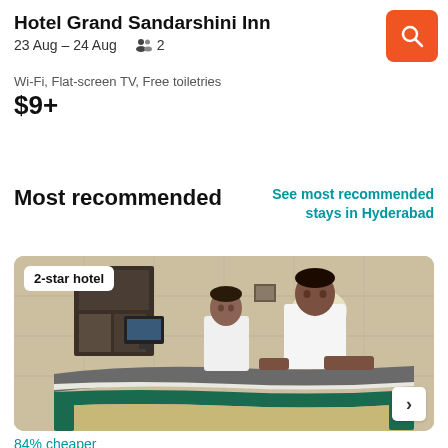Hotel Grand Sandarshini Inn
23 Aug – 24 Aug   👥 2
Wi-Fi, Flat-screen TV, Free toiletries
$9+
Most recommended
See most recommended stays in Hyderabad
[Figure (photo): Hotel reception desk with two staff members standing behind a curved wooden and green-trimmed counter. Badge overlay reads '2-star hotel'. Arrow navigation button on right.]
84% cheaper